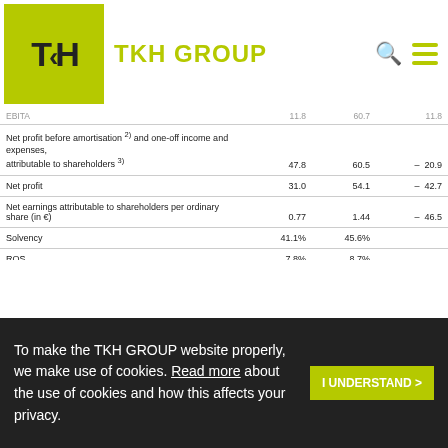TKH GROUP
|  | 2012 | 2011 | % change |
| --- | --- | --- | --- |
| EBITA | 11.8 | 60.7 | 11.8 |
| Net profit before amortisation and one-off income and expenses, attributable to shareholders | 47.8 | 60.5 | – 20.9 |
| Net profit | 31.0 | 54.1 | – 42.7 |
| Net earnings attributable to shareholders per ordinary share (in €) | 0.77 | 1.44 | – 46.5 |
| Solvency | 41.1% | 45.6% |  |
| ROS | 7.8% | 8.7% |  |
| ROCE | 16.0% | 21.5% |  |
| Dividend proposal 2012 (in €) | 0.65 | 0.75 |  |
1. The one-off expenses are one-off restructuring costs of € 8.0 million and impairments of € 3.3 million, both included in the fourth quarter 2012 and acquisition costs of € 4.2 million (2011: € 2 million), of which € 0.2 million has been included in the fourth quarter 2012 results.
2. Amortisation intangible fixed assets relating to acquisitions (after taxes). The one-off income and expenses 2012 are the above mentioned restructuring and acquisition costs of € 12.2